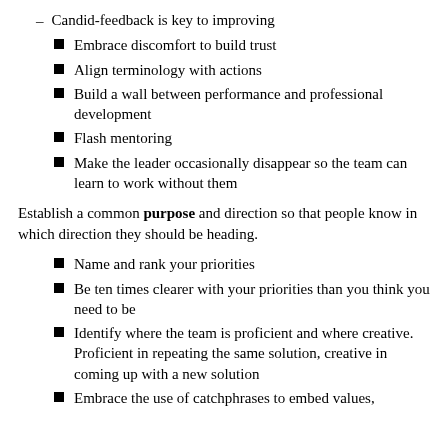Candid-feedback is key to improving
Embrace discomfort to build trust
Align terminology with actions
Build a wall between performance and professional development
Flash mentoring
Make the leader occasionally disappear so the team can learn to work without them
Establish a common purpose and direction so that people know in which direction they should be heading.
Name and rank your priorities
Be ten times clearer with your priorities than you think you need to be
Identify where the team is proficient and where creative. Proficient in repeating the same solution, creative in coming up with a new solution
Embrace the use of catchphrases to embed values,